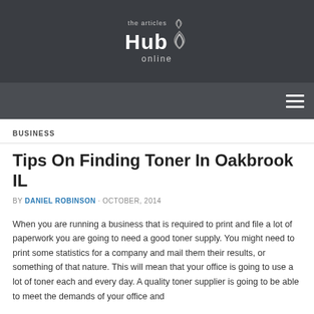[Figure (logo): The Articles Hub Online logo with wifi signal icon, white text on dark gray background]
Navigation bar with hamburger menu icon
BUSINESS
Tips On Finding Toner In Oakbrook IL
BY DANIEL ROBINSON · OCTOBER, 2014
When you are running a business that is required to print and file a lot of paperwork you are going to need a good toner supply. You might need to print some statistics for a company and mail them their results, or something of that nature. This will mean that your office is going to use a lot of toner each and every day. A quality toner supplier is going to be able to meet the demands of your office and